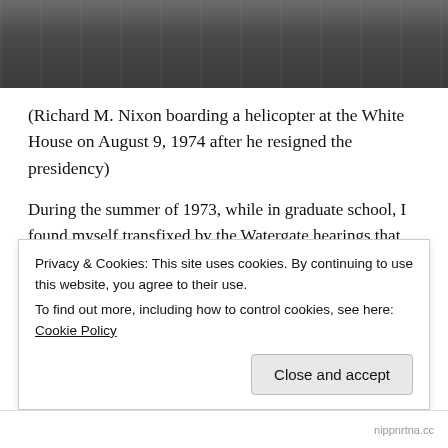[Figure (photo): Black and white photograph showing military personnel in uniform caps and dress uniforms, cropped at the top of the page.]
(Richard M. Nixon boarding a helicopter at the White House on August 9, 1974 after he resigned the presidency)
During the summer of 1973, while in graduate school, I found myself transfixed by the Watergate hearings that were broadcast live each day.  For me it became almost a soap opera with the revelations of Nixon administration misdeeds.  Once Nixon resigned, the battle for the Watergate tapes continued. After the 37th president
Privacy & Cookies: This site uses cookies. By continuing to use this website, you agree to their use.
To find out more, including how to control cookies, see here: Cookie Policy
Close and accept